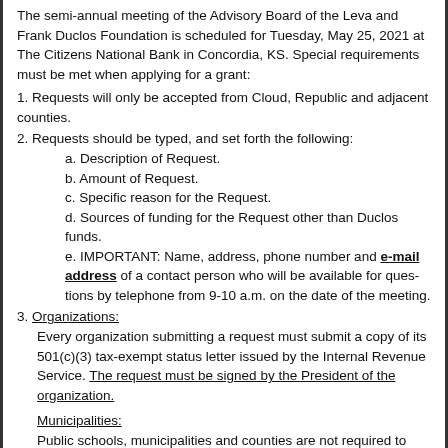The semi-annual meeting of the Advisory Board of the Leva and Frank Duclos Foundation is scheduled for Tuesday, May 25, 2021 at The Citizens National Bank in Concordia, KS.  Special requirements must be met when applying for a grant:
1. Requests will only be accepted from Cloud, Republic and adjacent counties.
2. Requests should be typed, and set forth the following:
   a. Description of Request.
   b. Amount of Request.
   c. Specific reason for the Request.
   d. Sources of funding for the Request other than Duclos funds.
   e. IMPORTANT:  Name, address, phone number and e-mail address of a contact person who will be available for questions by telephone from 9-10 a.m. on the date of the meeting.
3. Organizations:
   Every organization submitting a request must submit a copy of its 501(c)(3) tax-exempt status letter issued by the Internal Revenue Service.  The request must be signed by the President of the organization.
Municipalities:
   Public schools, municipalities and counties are not required to have 501(c)(3) letters.  A request by public schools, municipalities or counties must be signed by the chief official of the governing body.  A request signed only by an employee or department head is not sufficient.
4. Individuals applying for hardship needs should contact The Citizens National Bank for income and net worth guidelines